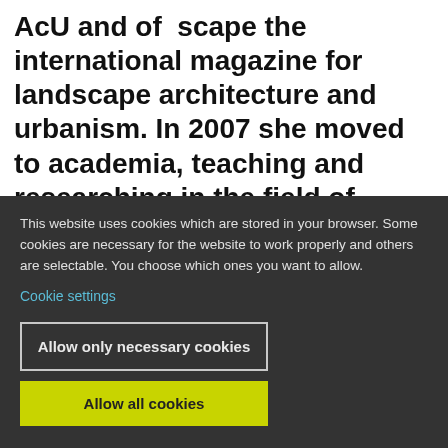AcU and of scape the international magazine for landscape architecture and urbanism. In 2007 she moved to academia, teaching and researching in the field of contemporary landscape architecture for universities in Europe and worldwide. Since 2012 she has been a professor of landscape architecture at the Swedish University of Agricultural Sciences (SLU) in Alnarp/ Malmö where she currently directs the research platform SLU Urban Futures
This website uses cookies which are stored in your browser. Some cookies are necessary for the website to work properly and others are selectable. You choose which ones you want to allow.
Cookie settings
Allow only necessary cookies
Allow all cookies